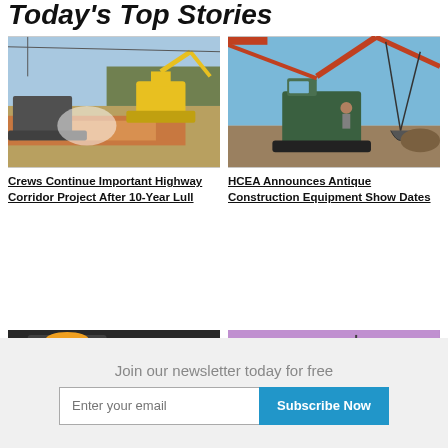Today's Top Stories
[Figure (photo): Construction equipment working on a highway corridor project — yellow excavator and other machinery on a dirt embankment]
[Figure (photo): Green antique crawler crane/dragline construction equipment on a job site with blue sky]
Crews Continue Important Highway Corridor Project After 10-Year Lull
HCEA Announces Antique Construction Equipment Show Dates
[Figure (photo): Partial view of a person in construction equipment cab]
[Figure (photo): Purple/dusk sky scene, partial view]
Join our newsletter today for free